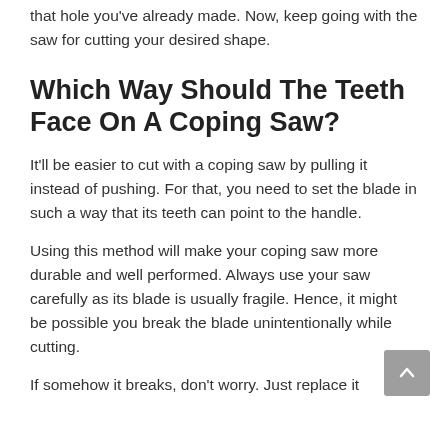that hole you've already made. Now, keep going with the saw for cutting your desired shape.
Which Way Should The Teeth Face On A Coping Saw?
It'll be easier to cut with a coping saw by pulling it instead of pushing. For that, you need to set the blade in such a way that its teeth can point to the handle.
Using this method will make your coping saw more durable and well performed. Always use your saw carefully as its blade is usually fragile. Hence, it might be possible you break the blade unintentionally while cutting.
If somehow it breaks, don't worry. Just replace it